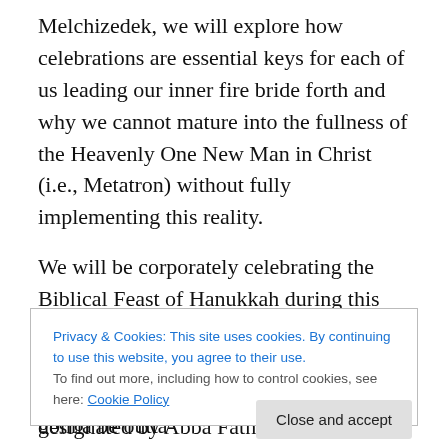Melchizedek, we will explore how celebrations are essential keys for each of us leading our inner fire bride forth and why we cannot mature into the fullness of the Heavenly One New Man in Christ (i.e., Metatron) without fully implementing this reality.
We will be corporately celebrating the Biblical Feast of Hanukkah during this class (See John 10:22-23). So, please come with great anticipation of joy, as we join as one at a specific ascended place designated by Abba Father Himself at a particular time in order to become
Privacy & Cookies: This site uses cookies. By continuing to use this website, you agree to their use.
To find out more, including how to control cookies, see here: Cookie Policy
Close and accept
Letters, 144000, Enoch, and Metatron. It's gonna be outta-